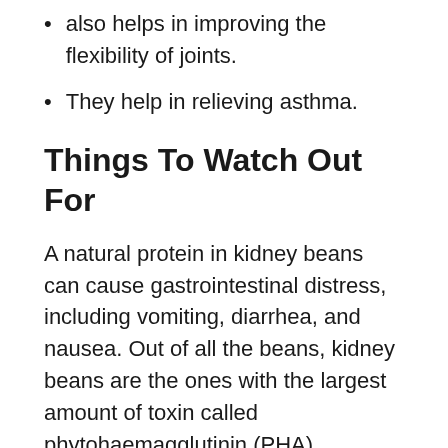also helps in improving the flexibility of joints.
They help in relieving asthma.
Things To Watch Out For
A natural protein in kidney beans can cause gastrointestinal distress, including vomiting, diarrhea, and nausea. Out of all the beans, kidney beans are the ones with the largest amount of toxin called phytohaemagglutinin (PHA). Cooking the beans properly can destroy this toxin, so while making kidney beans, always make sure to cook them thoroughly.
Canned beans are entirely safe to eat because they are wholly cooked during the process of